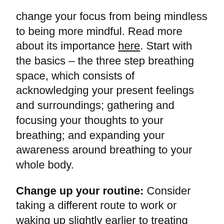change your focus from being mindless to being more mindful. Read more about its importance here. Start with the basics – the three step breathing space, which consists of acknowledging your present feelings and surroundings; gathering and focusing your thoughts to your breathing; and expanding your awareness around breathing to your whole body.
Change up your routine: Consider taking a different route to work or waking up slightly earlier to treating yourself with your favourite beverage or doing a morning gym session. Alternatively, brew your own favourite drink at home. With The Temperfect mug (available via Indiegogo Marketplace), you don't need to worry about burning yourself or waiting